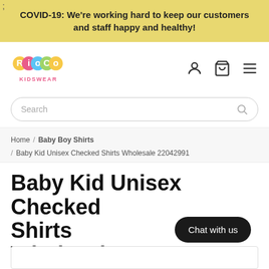COVID-19: We're working hard to keep our customers and staff happy and healthy!
[Figure (logo): Rioco Kidswear colorful logo with user, cart, and menu icons]
Search
Home / Baby Boy Shirts / Baby Kid Unisex Checked Shirts Wholesale 22042991
Baby Kid Unisex Checked Shirts Wholesale 22042991
Chat with us